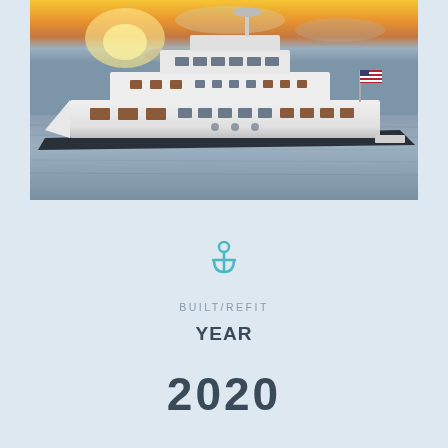[Figure (photo): A large white luxury motor yacht cruising on open water at sunset, with an orange and golden sky in the background. An American flag is visible at the stern.]
BUILT/REFIT
YEAR
2020